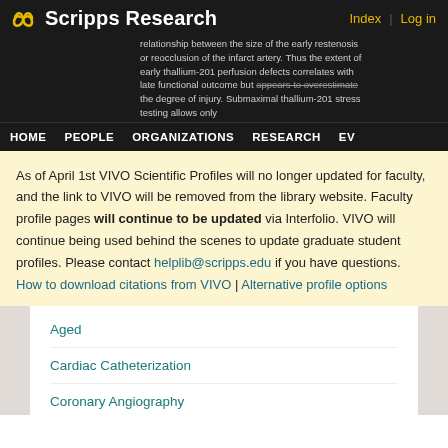Scripps Research — Index | Log in — HOME | PEOPLE | ORGANIZATIONS | RESEARCH | EV...
relationship between the size of the early restenosis or reocclusion of the infarct artery. Thus the extent of early thallium-201 perfusion defects correlates with late functional outcome but appears to overestimate the degree of injury. Submaximal thallium-201 stress testing allows only
As of April 1st VIVO Scientific Profiles will no longer updated for faculty, and the link to VIVO will be removed from the library website. Faculty profile pages will continue to be updated via Interfolio. VIVO will continue being used behind the scenes to update graduate student profiles. Please contact helplib@scripps.edu if you have questions.
How to download citations from VIVO | Alternative profile options
Aged
Cardiac Catheterization
Coronary Angiography